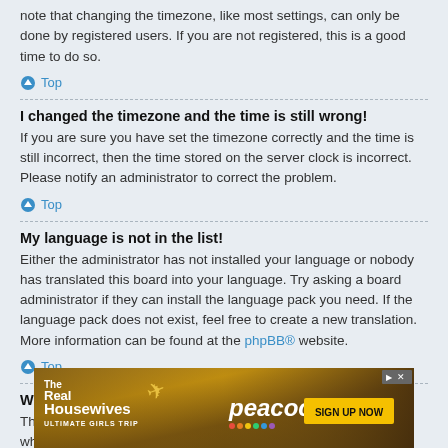note that changing the timezone, like most settings, can only be done by registered users. If you are not registered, this is a good time to do so.
↑ Top
I changed the timezone and the time is still wrong!
If you are sure you have set the timezone correctly and the time is still incorrect, then the time stored on the server clock is incorrect. Please notify an administrator to correct the problem.
↑ Top
My language is not in the list!
Either the administrator has not installed your language or nobody has translated this board into your language. Try asking a board administrator if they can install the language pack you need. If the language pack does not exist, feel free to create a new translation. More information can be found at the phpBB® website.
↑ Top
What are the images next to my username?
There are two images which may appear along with a username when viewing posts. On...rally in the form of st...de or your status on...tar and is
[Figure (photo): Advertisement banner for 'The Real Housewives Ultimate Girls Trip' on Peacock, with a 'SIGN UP NOW' button]